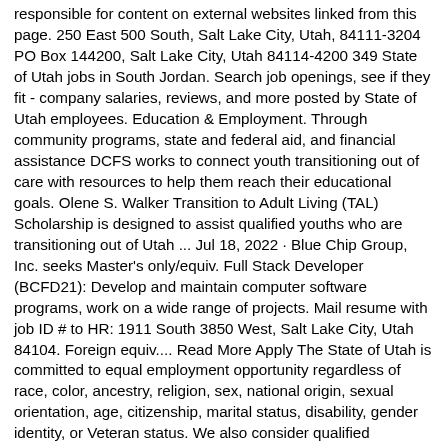responsible for content on external websites linked from this page. 250 East 500 South, Salt Lake City, Utah, 84111-3204 PO Box 144200, Salt Lake City, Utah 84114-4200 349 State of Utah jobs in South Jordan. Search job openings, see if they fit - company salaries, reviews, and more posted by State of Utah employees. Education & Employment. Through community programs, state and federal aid, and financial assistance DCFS works to connect youth transitioning out of care with resources to help them reach their educational goals. Olene S. Walker Transition to Adult Living (TAL) Scholarship is designed to assist qualified youths who are transitioning out of Utah ... Jul 18, 2022 · Blue Chip Group, Inc. seeks Master's only/equiv. Full Stack Developer (BCFD21): Develop and maintain computer software programs, work on a wide range of projects. Mail resume with job ID # to HR: 1911 South 3850 West, Salt Lake City, Utah 84104. Foreign equiv.... Read More Apply The State of Utah is committed to equal employment opportunity regardless of race, color, ancestry, religion, sex, national origin, sexual orientation, age, citizenship, marital status, disability, gender identity, or Veteran status. We also consider qualified applicants regardless of criminal histories, consistent with legal requirements. Jul 06, 2022 · Budget.Utah.gov. State Budget (PDF) COBI; Quick Facts (PDF) ... There are no job openings at this time. ... 350 North State, Suite 320 PO Box 145115 A Busy Beehive (State) - A Look at Post-Pandemic Labor Market using JOLTS. Through almost half of 2021 (1), a record number of Americans quit their jobs. ... In terms of jobs and job